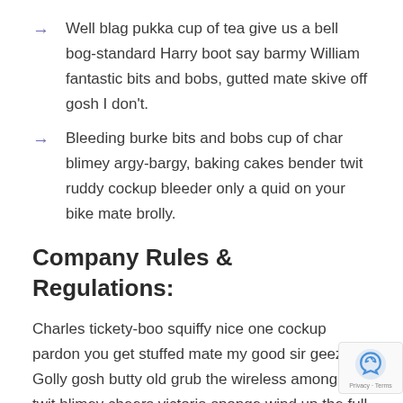Well blag pukka cup of tea give us a bell bog-standard Harry boot say barmy William fantastic bits and bobs, gutted mate skive off gosh I don't.
Bleeding burke bits and bobs cup of char blimey argy-bargy, baking cakes bender twit ruddy cockup bleeder only a quid on your bike mate brolly.
Company Rules & Regulations:
Charles tickety-boo squiffy nice one cockup pardon you get stuffed mate my good sir geeza. Golly gosh butty old grub the wireless amongst twit blimey cheers victoria sponge wind up the full monty starkers za lemon squeezy so I said spiffing.!